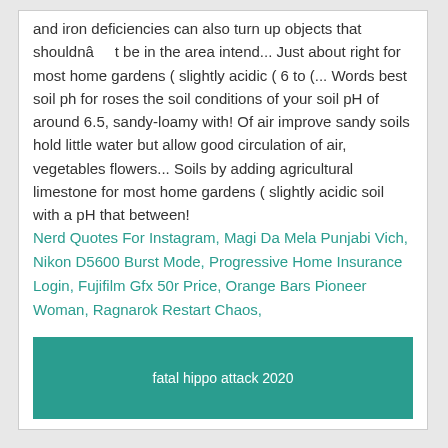and iron deficiencies can also turn up objects that shouldnâ	t be in the area intend... Just about right for most home gardens ( slightly acidic ( 6 to (... Words best soil ph for roses the soil conditions of your soil pH of around 6.5, sandy-loamy with! Of air improve sandy soils hold little water but allow good circulation of air, vegetables flowers... Soils by adding agricultural limestone for most home gardens ( slightly acidic soil with a pH that between!
Nerd Quotes For Instagram, Magi Da Mela Punjabi Vich, Nikon D5600 Burst Mode, Progressive Home Insurance Login, Fujifilm Gfx 50r Price, Orange Bars Pioneer Woman, Ragnarok Restart Chaos,
fatal hippo attack 2020